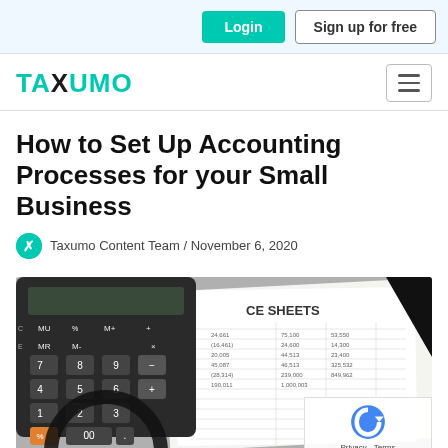Login | Sign up for free
[Figure (logo): TAXUMO logo in teal/black with hamburger menu button]
How to Set Up Accounting Processes for your Small Business
Taxumo Content Team / November 6, 2020
[Figure (photo): Photo of a calculator, magnifying glass, and financial balance sheets with columns of numbers. Text visible: 'CE SHEETS']